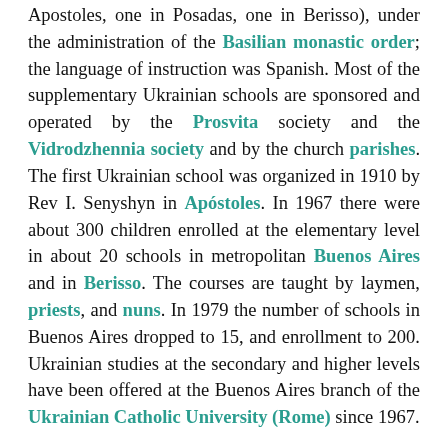Apostoles, one in Posadas, one in Berisso), under the administration of the Basilian monastic order; the language of instruction was Spanish. Most of the supplementary Ukrainian schools are sponsored and operated by the Prosvita society and the Vidrodzhennia society and by the church parishes. The first Ukrainian school was organized in 1910 by Rev I. Senyshyn in Apóstoles. In 1967 there were about 300 children enrolled at the elementary level in about 20 schools in metropolitan Buenos Aires and in Berisso. The courses are taught by laymen, priests, and nuns. In 1979 the number of schools in Buenos Aires dropped to 15, and enrollment to 200. Ukrainian studies at the secondary and higher levels have been offered at the Buenos Aires branch of the Ukrainian Catholic University (Rome) since 1967.
The youth organizations engage in some educational work. The main activities of these organizations are periodic meetings, summer camps, sports programs, folk-dancing instruction, and the like.